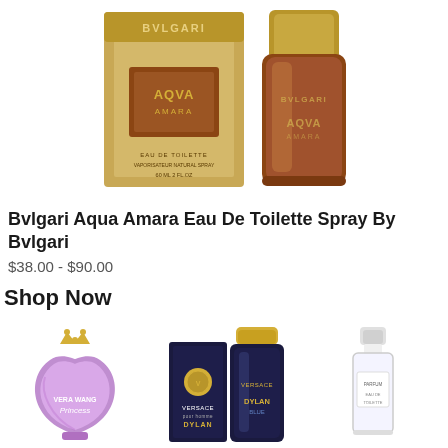[Figure (photo): Bvlgari Aqua Amara Eau De Toilette Spray product shot showing gold box and amber-colored bottle]
Bvlgari Aqua Amara Eau De Toilette Spray By Bvlgari
$38.00 - $90.00
Shop Now
[Figure (photo): Vera Wang Princess perfume bottle - purple heart-shaped bottle with gold crown cap]
[Figure (photo): Versace Pour Homme Dylan Blue - dark navy bottle with gold Versace emblem and matching box]
[Figure (photo): Small clear/white perfume bottle on white background]